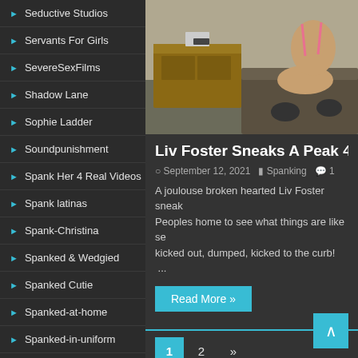Seductive Studios
Servants For Girls
SevereSexFilms
Shadow Lane
Sophie Ladder
Soundpunishment
Spank Her 4 Real Videos
Spank latinas
Spank-Christina
Spanked & Wedgied
Spanked Cutie
Spanked-at-home
Spanked-in-uniform
Spankedanddiapered
[Figure (photo): Photo of a person sitting on furniture, partial body visible, wearing pink/light colored top]
Liv Foster Sneaks A Peak 4! -
September 12, 2021  Spanking  1
A joulouse broken hearted Liv Foster sneak... Peoples home to see what things are like s... kicked out, dumped, kicked to the curb! ...
Read More »